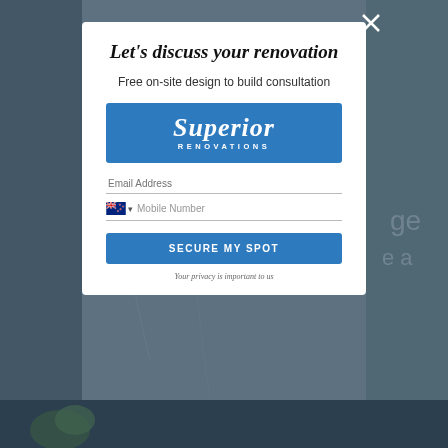[Figure (screenshot): Background photo of a bathroom with marble tiles, partially obscured by a dark overlay]
Let's discuss your renovation
Free on-site design to build consultation
[Figure (logo): Superior Renovations logo — white script text on blue background with 'RENOVATIONS' in small caps below]
Email Address
Mobile Number
SECURE MY SPOT
Your privacy is important to us